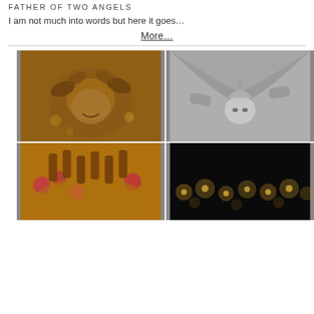FATHER OF TWO ANGELS
I am not much into words but here it goes…
More…
[Figure (photo): Four wedding/celebration photos arranged in a 2x2 grid: top-left shows a man laughing with hands applying haldi/turmeric on his face in warm golden tones; top-right is a black and white photo of a bride in elaborate headpiece looking down while being covered by a veil/dupatta held by others; bottom-left shows multiple hands raised over a bride covered in flowers and haldi; bottom-right shows a dark scene with small glowing lights/lamps in bokeh.]